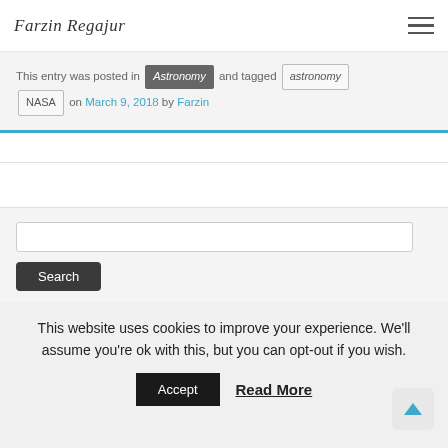Farzin Regajur
This entry was posted in Astronomy and tagged astronomy NASA on March 9, 2018 by Farzin
Search input and Search button
This website uses cookies to improve your experience. We'll assume you're ok with this, but you can opt-out if you wish. Accept Read More